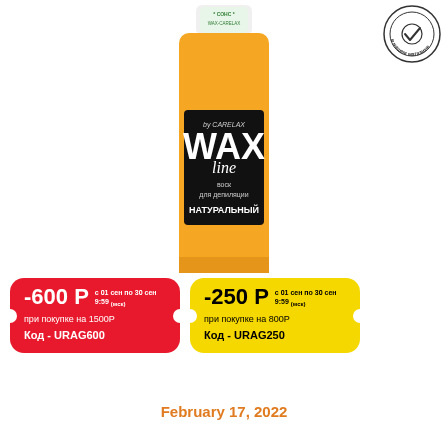[Figure (photo): A roller wax cartridge product — WAX line by CARELAX, orange/yellow color wax for hair removal, natural type. Label on bottle reads: by CARELAX, WAX line, воск для депиляции, НАТУРАЛЬНЫЙ. Top cap has a green sticker.]
[Figure (logo): Circular stamp badge in top right corner with checkmark and Russian text 'в нашем магазине']
-600 Р с 01 сен по 30 сен 9:59 (мск) при покупке на 1500Р Код - URAG600
-250 Р с 01 сен по 30 сен 9:59 (мск) при покупке на 800Р Код - URAG250
February 17, 2022